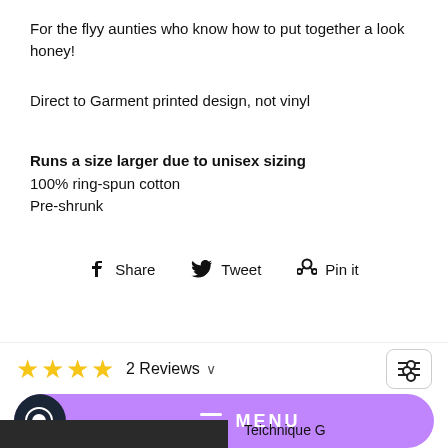For the flyy aunties who know how to put together a look honey!
Direct to Garment printed design, not vinyl
Runs a size larger due to unisex sizing
100% ring-spun cotton
Pre-shrunk
Share  Tweet  Pin it
2 Reviews
MENU
Teichnique G